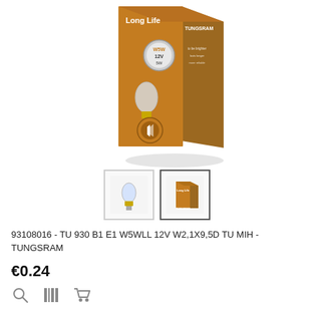[Figure (photo): Tungsram Long Life W5W 12V 5W bulb product box in brown/orange color with 'Long Life' text and Tungsram branding, shown at an angle with a clear glass bulb visible]
[Figure (photo): Two product thumbnails: left shows the clear glass bulb, right shows the orange Tungsram product box]
93108016 - TU 930 B1 E1 W5WLL 12V W2,1X9,5D TU MIH - TUNGSRAM
€0.24
[Figure (other): Three action icons: magnifying glass (search/zoom), barcode/grid icon, and shopping cart icon]